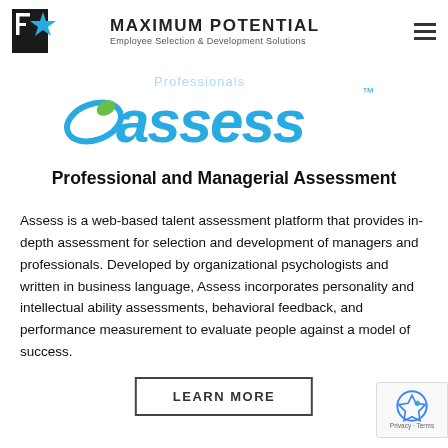Maximum Potential — Employee Selection & Development Solutions
[Figure (logo): Assess product logo — stylized teal/blue cursive word 'assess' with a green teardrop accent]
Professional and Managerial Assessment
Assess is a web-based talent assessment platform that provides in-depth assessment for selection and development of managers and professionals. Developed by organizational psychologists and written in business language, Assess incorporates personality and intellectual ability assessments, behavioral feedback, and performance measurement to evaluate people against a model of success.